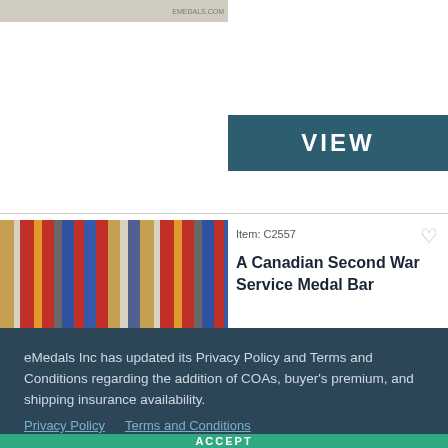[Figure (screenshot): Top portion of eMedals.com product listing page showing a thumbnail image with EMEDALS.COM watermark]
[Figure (screenshot): VIEW button in dark teal/slate color]
[Figure (photo): Photo of a Canadian Second War Service Medal Bar with colorful ribbons]
Item: C2557
A Canadian Second War Service Medal Bar
eMedals Inc has updated its Privacy Policy and Terms and Conditions regarding the addition of COAs, buyer's premium, and shipping insurance availability.
Privacy Policy    Terms and Conditions
ACCEPT